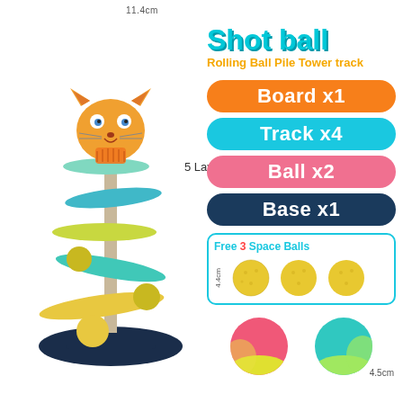11.4cm
[Figure (photo): Ball drop tower toy with cat face at top, spiral ramps, and balls rolling down. 5-layer structure with dark navy base.]
5 Layer
Shot ball
Rolling Ball Pile Tower track
Board x1
Track x4
Ball x2
Base x1
Free 3 Space Balls
[Figure (photo): Three yellow textured golf-like balls shown in a row inside a bordered box.]
[Figure (photo): Two large two-tone balls: one pink/yellow and one teal/light green.]
4.5cm